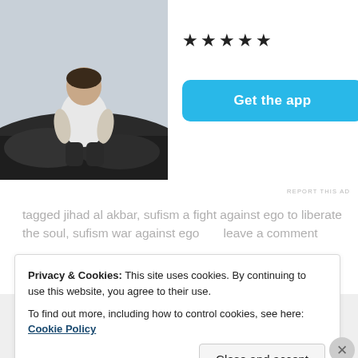[Figure (photo): Person sitting on rocks with back to camera, wearing a white t-shirt, overlooking a dark rocky landscape]
★★★★★
Get the app
REPORT THIS AD
tagged jihad al akbar, sufism a fight against ego to liberate the soul, sufism war against ego      leave a comment
Search ...
Privacy & Cookies: This site uses cookies. By continuing to use this website, you agree to their use.
To find out more, including how to control cookies, see here: Cookie Policy
Close and accept